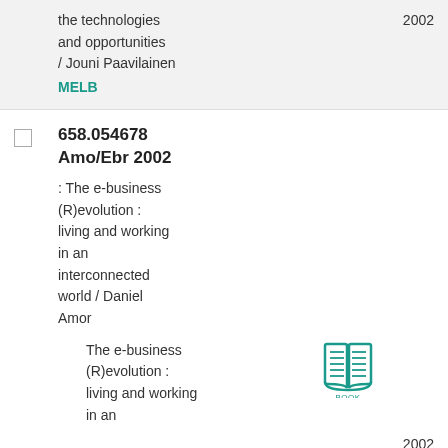the technologies and opportunities / Jouni Paavilainen
MELB
2002
658.054678 Amo/Ebr 2002
: The e-business (R)evolution : living and working in an interconnected world / Daniel Amor
The e-business (R)evolution : living and working in an
[Figure (illustration): Book icon in teal color with BOOK label underneath]
2002